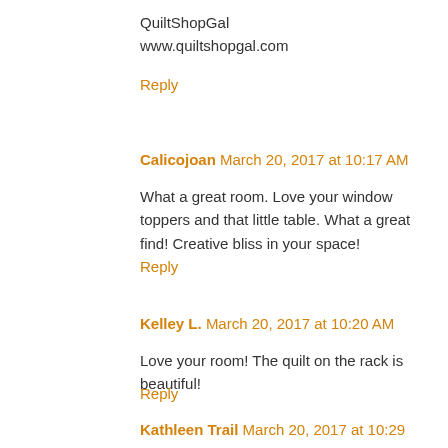QuiltShopGal
www.quiltshopgal.com
Reply
Calicojoan March 20, 2017 at 10:17 AM
What a great room. Love your window toppers and that little table. What a great find! Creative bliss in your space!
Reply
Kelley L. March 20, 2017 at 10:20 AM
Love your room! The quilt on the rack is beautiful!
Reply
Kathleen Trail March 20, 2017 at 10:29 AM
OH my...i love the chickens :) I keep projects in white baskets too, some are started and some are waiting :)